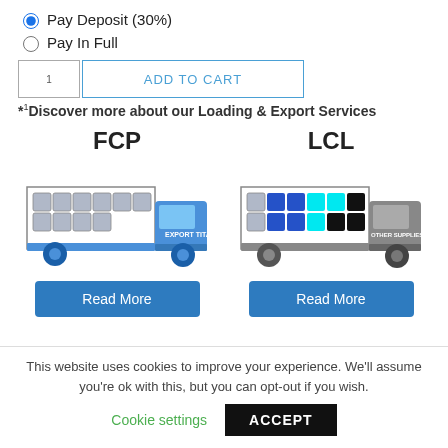Pay Deposit (30%)
Pay In Full
*Discover more about our Loading & Export Services
[Figure (illustration): FCP truck illustration showing a blue truck with grid of cargo boxes]
[Figure (illustration): LCL truck illustration showing a gray truck with colored cargo boxes (blue, cyan, black)]
Read More
Read More
This website uses cookies to improve your experience. We'll assume you're ok with this, but you can opt-out if you wish.
Cookie settings
ACCEPT